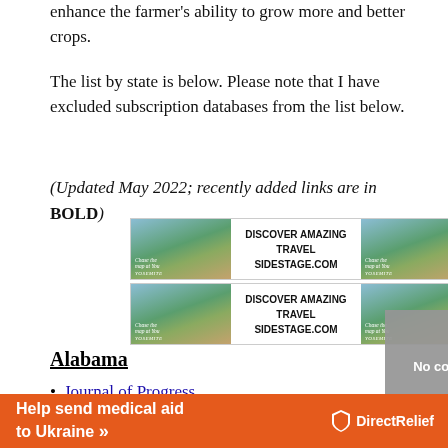enhance the farmer's ability to grow more and better crops.
The list by state is below. Please note that I have excluded subscription databases from the list below.
(Updated May 2022; recently added links are in BOLD)
[Figure (other): Two travel advertisement banners for SIDESTAGE.COM featuring mountain/Yosemite landscape images with text DISCOVER AMAZING TRAVEL SIDESTAGE.COM]
Alabama
Journal of Progress
Farm Journal
Alabama Farm Journal...
[Figure (other): Popup overlay: No compatible source was found for this media. Obituary Genealogy Guide with X close button]
[Figure (other): Banner advertisement: Help send medical aid to Ukraine - Direct Relief]